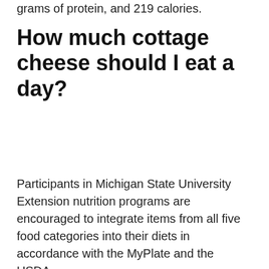grams of protein, and 219 calories.
How much cottage cheese should I eat a day?
Participants in Michigan State University Extension nutrition programs are encouraged to integrate items from all five food categories into their diets in accordance with the MyPlate and the USDA
[Figure (screenshot): Ad unit with search bar labeled 'Search for' with a blue play icon, two search result items: 'COTTAGE CHEESE PINEAPPLE SALADS' and 'HEALTHY SNACKS TO REDUCE BELLY FAT', each with a right arrow. Footer reads 'Yahoo! Search | Sponsored'.]